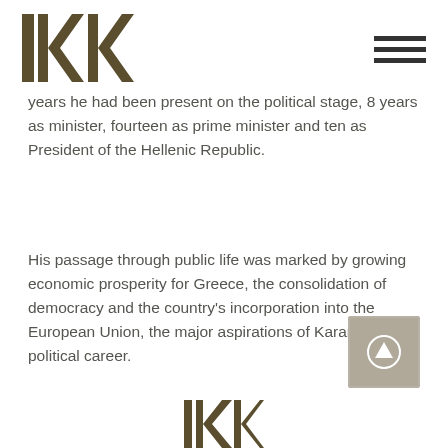KK logo and hamburger menu
years he had been present on the political stage, 8 years as minister, fourteen as prime minister and ten as President of the Hellenic Republic.
His passage through public life was marked by growing economic prosperity for Greece, the consolidation of democracy and the country’s incorporation into the European Union, the major aspirations of Karamanlis’ political career.
[Figure (logo): Scroll to top button with upward arrow]
[Figure (logo): KK logo at bottom of page]